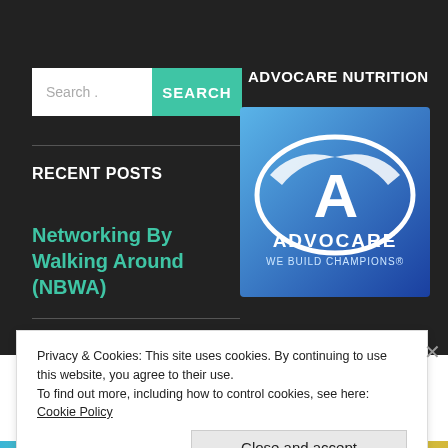Search .
SEARCH
ADVOCARE NUTRITION
[Figure (logo): AdvoCare logo — blue background with white oval/shield emblem and text 'ADVOCARE WE BUILD CHAMPIONS']
RECENT POSTS
Networking By Walking Around (NBWA)
Privacy & Cookies: This site uses cookies. By continuing to use this website, you agree to their use.
To find out more, including how to control cookies, see here: Cookie Policy
Close and accept